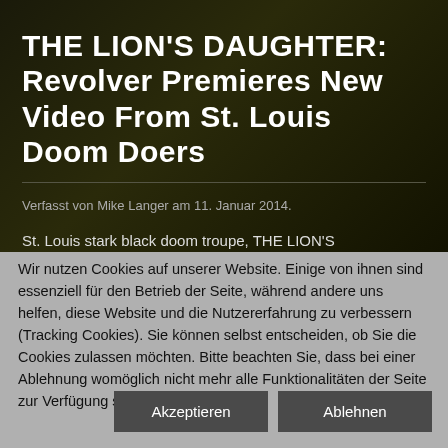THE LION'S DAUGHTER: Revolver Premieres New Video From St. Louis Doom Doers
Verfasst von Mike Langer am 11. Januar 2014.
St. Louis stark black doom troupe, THE LION'S DAUGHTER, recently completed a video for "Swann." Directed by Brain
Wir nutzen Cookies auf unserer Website. Einige von ihnen sind essenziell für den Betrieb der Seite, während andere uns helfen, diese Website und die Nutzererfahrung zu verbessern (Tracking Cookies). Sie können selbst entscheiden, ob Sie die Cookies zulassen möchten. Bitte beachten Sie, dass bei einer Ablehnung womöglich nicht mehr alle Funktionalitäten der Seite zur Verfügung stehen.
Akzeptieren
Ablehnen